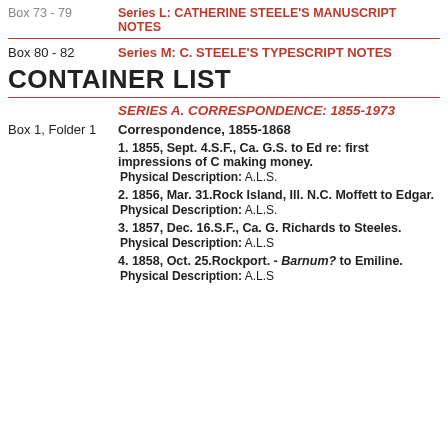Box 73 - 79   Series L: CATHERINE STEELE'S MANUSCRIPT NOTES
Box 80 - 82   Series M: C. STEELE'S TYPESCRIPT NOTES
CONTAINER LIST
SERIES A. CORRESPONDENCE: 1855-1973
Box 1, Folder 1   Correspondence, 1855-1868
1. 1855, Sept. 4.S.F., Ca. G.S. to Ed re: first impressions of C making money.
Physical Description: A.L.S.
2. 1856, Mar. 31.Rock Island, Ill. N.C. Moffett to Edgar.
Physical Description: A.L.S.
3. 1857, Dec. 16.S.F., Ca. G. Richards to Steeles.
Physical Description: A.L.S
4. 1858, Oct. 25.Rockport. - Barnum? to Emiline.
Physical Description: A.L.S